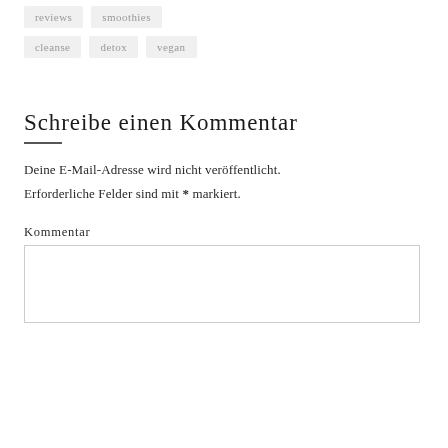reviews   smoothies
cleanse   detox   vegan
Schreibe einen Kommentar
Deine E-Mail-Adresse wird nicht veröffentlicht. Erforderliche Felder sind mit * markiert.
Kommentar